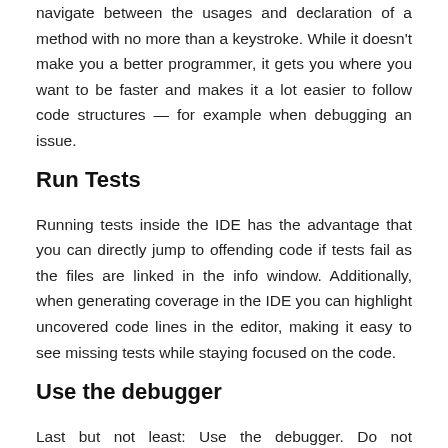navigate between the usages and declaration of a method with no more than a keystroke. While it doesn't make you a better programmer, it gets you where you want to be faster and makes it a lot easier to follow code structures — for example when debugging an issue.
Run Tests
Running tests inside the IDE has the advantage that you can directly jump to offending code if tests fail as the files are linked in the info window. Additionally, when generating coverage in the IDE you can highlight uncovered code lines in the editor, making it easy to see missing tests while staying focused on the code.
Use the debugger
Last but not least: Use the debugger. Do not var_dump/echo your way through the code — you will be much more efficient